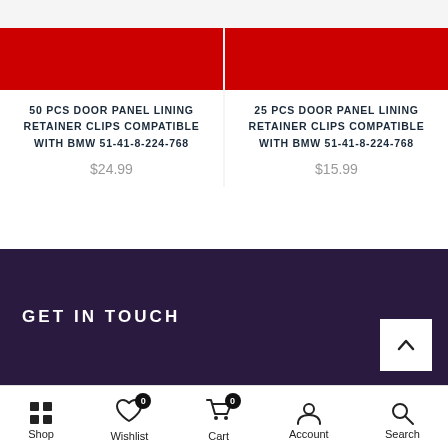[Figure (photo): Product card image with red bar — 50 PCS Door Panel Lining Retainer Clips]
50 PCS DOOR PANEL LINING RETAINER CLIPS COMPATIBLE WITH BMW 51-41-8-224-768
$24.99
[Figure (photo): Product card image with red bar — 25 PCS Door Panel Lining Retainer Clips]
25 PCS DOOR PANEL LINING RETAINER CLIPS COMPATIBLE WITH BMW 51-41-8-224-768
$15.99
GET IN TOUCH
Shop | Wishlist 0 | Cart 0 | Account | Search